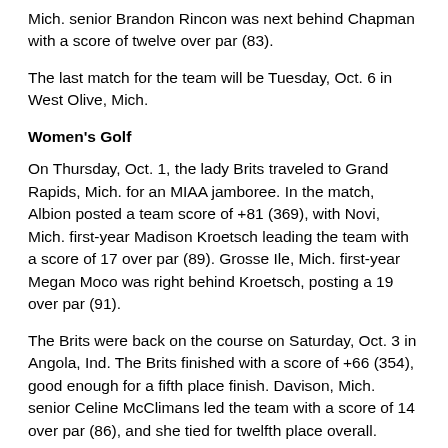Mich. senior Brandon Rincon was next behind Chapman with a score of twelve over par (83).
The last match for the team will be Tuesday, Oct. 6 in West Olive, Mich.
Women's Golf
On Thursday, Oct. 1, the lady Brits traveled to Grand Rapids, Mich. for an MIAA jamboree. In the match, Albion posted a team score of +81 (369), with Novi, Mich. first-year Madison Kroetsch leading the team with a score of 17 over par (89). Grosse Ile, Mich. first-year Megan Moco was right behind Kroetsch, posting a 19 over par (91).
The Brits were back on the course on Saturday, Oct. 3 in Angola, Ind. The Brits finished with a score of +66 (354), good enough for a fifth place finish. Davison, Mich. senior Celine McClimans led the team with a score of 14 over par (86), and she tied for twelfth place overall.